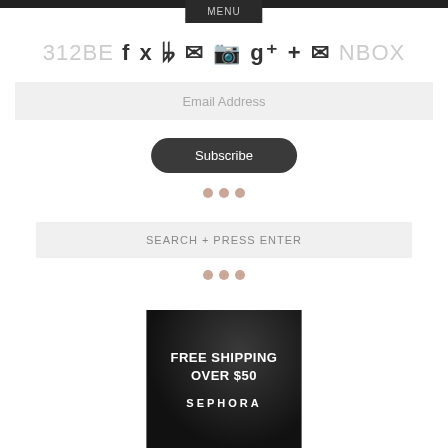MENU
312BE... f twitter pinterest instagram g+ + mail ...NBOX
Email Address
Subscribe
[Figure (other): Three decorative dots in pinkish-beige color]
SEARCH + PRESS ENTER
[Figure (other): Three decorative dots in pinkish-beige color]
[Figure (other): Sephora advertisement banner with dark background reading FREE SHIPPING OVER $50 and SEPHORA logo]